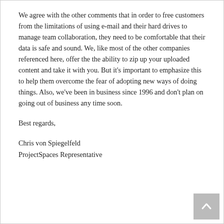We agree with the other comments that in order to free customers from the limitations of using e-mail and their hard drives to manage team collaboration, they need to be comfortable that their data is safe and sound. We, like most of the other companies referenced here, offer the the ability to zip up your uploaded content and take it with you. But it’s important to emphasize this to help them overcome the fear of adopting new ways of doing things. Also, we’ve been in business since 1996 and don’t plan on going out of business any time soon.
Best regards,
Chris von Spiegelfeld
ProjectSpaces Representative